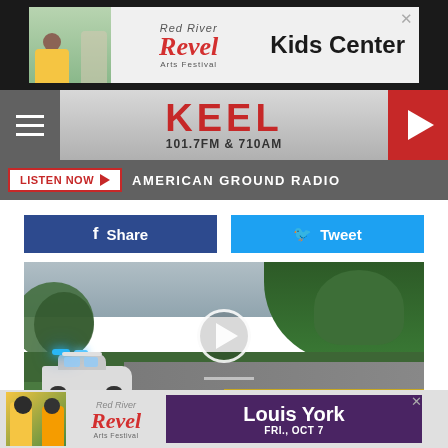[Figure (screenshot): Top advertisement banner for Red River Revel Arts Festival Kids Center]
KEEL 101.7FM & 710AM
LISTEN NOW ▶  AMERICAN GROUND RADIO
[Figure (screenshot): Facebook Share button and Twitter Tweet button]
[Figure (photo): Video thumbnail showing a police car with blue lights on a rural road with trees, with a circular play button overlay]
[Figure (screenshot): Bottom advertisement banner for Red River Revel Arts Festival featuring Louis York, FRI., OCT 7]